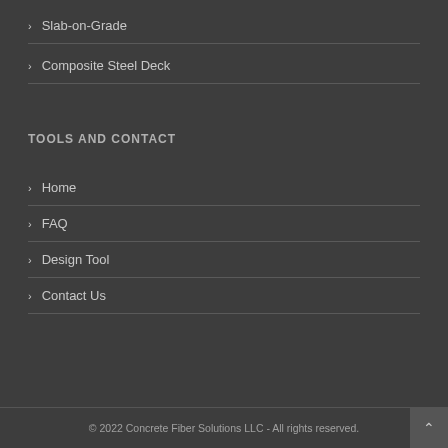Slab-on-Grade
Composite Steel Deck
TOOLS AND CONTACT
Home
FAQ
Design Tool
Contact Us
© 2022 Concrete Fiber Solutions LLC - All rights reserved.